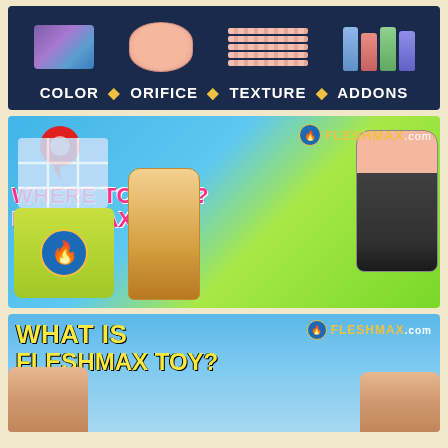[Figure (infographic): Dark navy banner with product customization categories: COLOR, ORIFICE, TEXTURE, ADDONS shown with product images above each label]
[Figure (infographic): FLESHMAX.com 'WHERE TO BUY? FLESHMAX TOY' banner with map pin, shopping bag, and product photos on blue-green gradient background]
[Figure (infographic): FLESHMAX.com 'WHAT IS FLESHMAX TOY?' banner on blue sky background with yellow text and people at bottom]